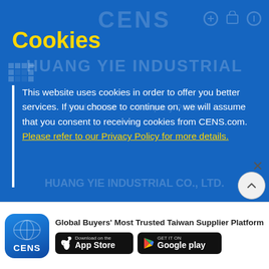Cookies
This website uses cookies in order to offer you better services. If you choose to continue on, we will assume that you consent to receiving cookies from CENS.com. Please refer to our Privacy Policy for more details.
OK
I'm interested in your products, please offer me more information:
Global Buyers' Most Trusted Taiwan Supplier Platform
[Figure (logo): CENS app icon - blue globe logo with CENS text]
[Figure (screenshot): Download on the App Store button - black rounded rectangle with Apple logo]
[Figure (screenshot): GET IT ON Google Play button - black rounded rectangle with Google Play logo]